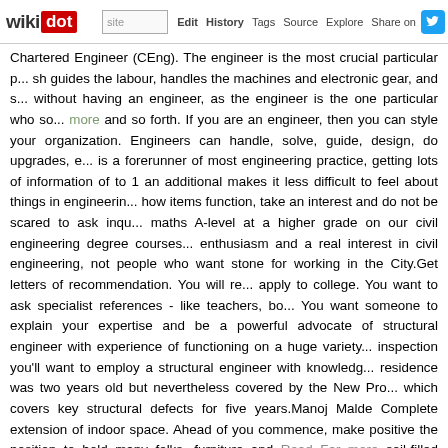wikidot | site | Edit | History | Tags | Source | Explore | Share on [Twitter]
Chartered Engineer (CEng). The engineer is the most crucial particular p... sh guides the labour, handles the machines and electronic gear, and s... without having an engineer, as the engineer is the one particular who so... more and so forth. If you are an engineer, then you can style your organization. Engineers can handle, solve, guide, design, do upgrades, e... is a forerunner of most engineering practice, getting lots of information of ... to 1 an additional makes it less difficult to feel about things in engineerin... how items function, take an interest and do not be scared to ask inqu... maths A-level at a higher grade on our civil engineering degree courses... enthusiasm and a real interest in civil engineering, not people who want... stone for working in the City.Get letters of recommendation. You will re... apply to college. You want to ask specialist references - like teachers, bo... You want someone to explain your expertise and be a powerful advocate... of structural engineer with experience of functioning on a huge variety... inspection you'll want to employ a structural engineer with knowledg... residence was two years old but nevertheless covered by the New Pro... which covers key structural defects for five years.Manoj Malde Complet... extension of indoor space. Ahead of you commence, make positive the position to hold many folks, furniture and Read Far more soil-filled planter... wet (to hold the weight down, fill the bottom of pots with broken polystyr... your roof is load-bearing, do this straightforward test: does it have side... opposed to a window)? If so, the architects probably created it for human... architect's drawings to see how it was constructed (an estate agent must... or surveyor to advise if added assistance is needed.As discussed prev... accomplished on a scale so tiny that producing detail is practically imp... usually add circled numbers to specific parts of the drawings. These identified is shown in greater detail on an additional web page.List your e... the future can be unpredictable. Consider also about what gets you exci... time? Possibly computer engineering is a good option for you. Like tinke...